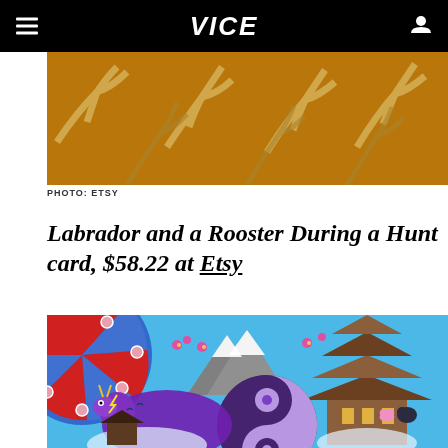VICE
[Figure (photo): Close-up painting of abstract golden/brown antler or branch-like strokes on an orange-brown background — artwork shown on Etsy]
PHOTO: ETSY
Labrador and a Rooster During a Hunt card, $58.22 at Etsy
[Figure (photo): Colorful folk art painting featuring a yin-yang symbol, purple dragon, Japanese pagoda castle, snow-capped mountains, decorative fan with red and blue pattern, pink flowers, and birds on a bright blue background]